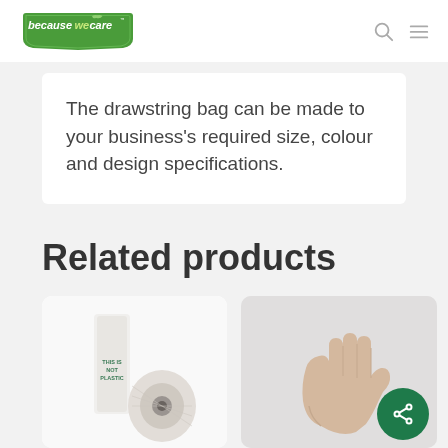[Figure (logo): becausewecare logo - green badge shape with white text and leaf motif]
The drawstring bag can be made to your business's required size, colour and design specifications.
Related products
[Figure (photo): Product photo showing a roll of tape/string and a product labeled 'THIS IS NOT PLASTIC']
[Figure (photo): Photo of a hand with palm open/raised against a light grey background]